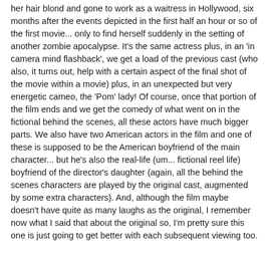her hair blond and gone to work as a waitress in Hollywood, six months after the events depicted in the first half an hour or so of the first movie... only to find herself suddenly in the setting of another zombie apocalypse. It's the same actress plus, in an 'in camera mind flashback', we get a load of the previous cast (who also, it turns out, help with a certain aspect of the final shot of the movie within a movie) plus, in an unexpected but very energetic cameo, the 'Pom' lady! Of course, once that portion of the film ends and we get the comedy of what went on in the fictional behind the scenes, all these actors have much bigger parts. We also have two American actors in the film and one of these is supposed to be the American boyfriend of the main character... but he's also the real-life (um... fictional reel life) boyfriend of the director's daughter (again, all the behind the scenes characters are played by the original cast, augmented by some extra characters). And, although the film maybe doesn't have quite as many laughs as the original, I remember now what I said that about the original so, I'm pretty sure this one is just going to get better with each subsequent viewing too.